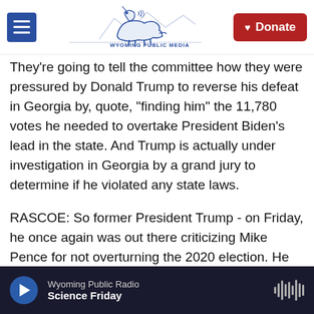Wyoming Public Media — Donate
They're going to tell the committee how they were pressured by Donald Trump to reverse his defeat in Georgia by, quote, "finding him" the 11,780 votes he needed to overtake President Biden's lead in the state. And Trump is actually under investigation in Georgia by a grand jury to determine if he violated any state laws.
RASCOE: So former President Trump - on Friday, he once again was out there criticizing Mike Pence for not overturning the 2020 election. He even said that the attack on the Capitol was, quote, "a simple protest that got out of hand." That is false. That's
Wyoming Public Radio — Science Friday